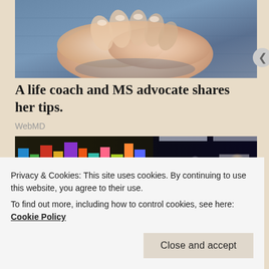[Figure (photo): Close-up photo of two hands with manicured nails clasped together resting on denim jeans]
A life coach and MS advocate shares her tips.
WebMD
[Figure (photo): Interior of a store or supermarket aisle with colorful products and bokeh lights in background]
Privacy & Cookies: This site uses cookies. By continuing to use this website, you agree to their use.
To find out more, including how to control cookies, see here: Cookie Policy
Close and accept